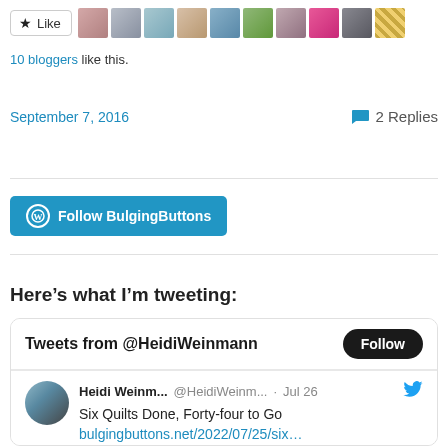[Figure (screenshot): Like button with star icon and 10 blogger avatar thumbnails]
10 bloggers like this.
September 7, 2016   💬 2 Replies
[Figure (screenshot): Follow BulgingButtons WordPress follow button]
Here's what I'm tweeting:
[Figure (screenshot): Twitter widget showing Tweets from @HeidiWeinmann with a tweet by Heidi Weinm... @HeidiWeinm... Jul 26: Six Quilts Done, Forty-four to Go bulgingbuttons.net/2022/07/25/six...]